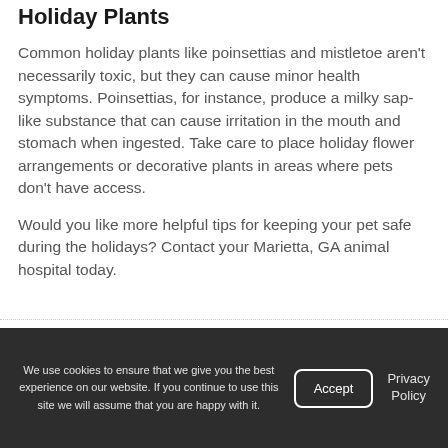Holiday Plants
Common holiday plants like poinsettias and mistletoe aren't necessarily toxic, but they can cause minor health symptoms. Poinsettias, for instance, produce a milky sap-like substance that can cause irritation in the mouth and stomach when ingested. Take care to place holiday flower arrangements or decorative plants in areas where pets don't have access.
Would you like more helpful tips for keeping your pet safe during the holidays? Contact your Marietta, GA animal hospital today.
We use cookies to ensure that we give you the best experience on our website. If you continue to use this site we will assume that you are happy with it.